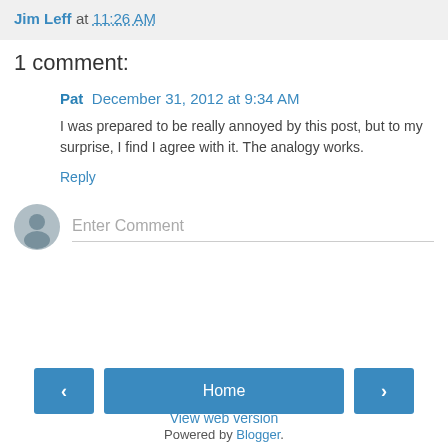Jim Leff at 11:26 AM
1 comment:
Pat  December 31, 2012 at 9:34 AM
I was prepared to be really annoyed by this post, but to my surprise, I find I agree with it. The analogy works.
Reply
[Figure (other): Comment input area with user avatar circle and Enter Comment placeholder text]
< Home > View web version Powered by Blogger.